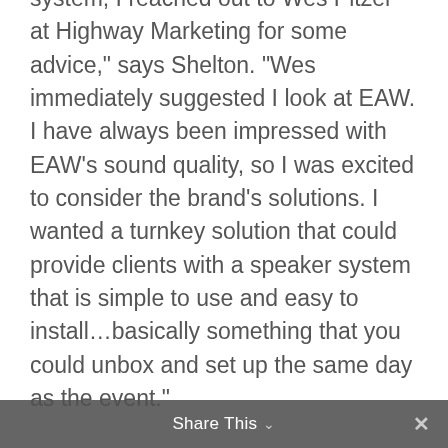system, I reached out to Wes Pitzer at Highway Marketing for some advice," says Shelton. "Wes immediately suggested I look at EAW. I have always been impressed with EAW’s sound quality, so I was excited to consider the brand’s solutions. I wanted a turnkey solution that could provide clients with a speaker system that is simple to use and easy to install…basically something that you could unbox and set up the same day as the event."
To display the full capability of EAW’s RSX, Pitzer set up a demo in Texas for Shelton. “The EAW crew demoed the entire line of the RSX series one-by-one, and I really loved the sound of the boxes,” adds Shelton. “I’ve set up about every PA out there, and the RSX system
Share This